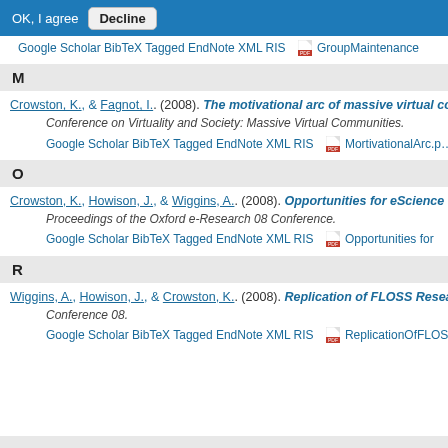OK, I agree  Decline
Google Scholar BibTeX Tagged EndNote XML RIS  GroupMaintenance
M
Crowston, K., & Fagnot, I.. (2008). The motivational arc of massive virtual collab... Conference on Virtuality and Society: Massive Virtual Communities.
Google Scholar BibTeX Tagged EndNote XML RIS  MortivationalArc.p...
O
Crowston, K., Howison, J., & Wiggins, A.. (2008). Opportunities for eScience rese... Proceedings of the Oxford e-Research 08 Conference.
Google Scholar BibTeX Tagged EndNote XML RIS  Opportunities for
R
Wiggins, A., Howison, J., & Crowston, K.. (2008). Replication of FLOSS Research... Conference 08.
Google Scholar BibTeX Tagged EndNote XML RIS  ReplicationOfFLOS...